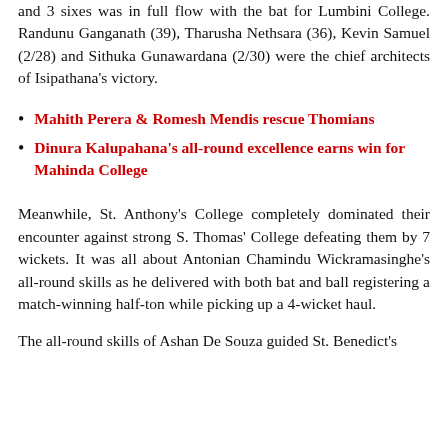and 3 sixes was in full flow with the bat for Lumbini College. Randunu Ganganath (39), Tharusha Nethsara (36), Kevin Samuel (2/28) and Sithuka Gunawardana (2/30) were the chief architects of Isipathana's victory.
Mahith Perera & Romesh Mendis rescue Thomians
Dinura Kalupahana's all-round excellence earns win for Mahinda College
Meanwhile, St. Anthony's College completely dominated their encounter against strong S. Thomas' College defeating them by 7 wickets. It was all about Antonian Chamindu Wickramasinghe's all-round skills as he delivered with both bat and ball registering a match-winning half-ton while picking up a 4-wicket haul.
The all-round skills of Ashan De Souza guided St. Benedict's